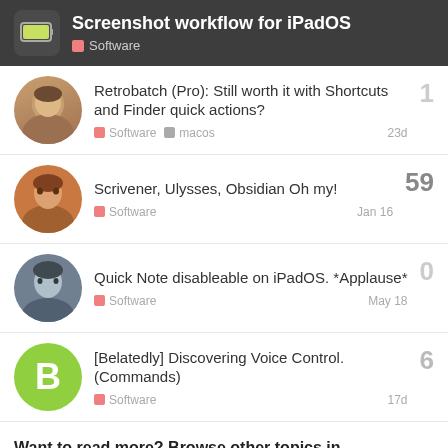Screenshot workflow for iPadOS — Software
Retrobatch (Pro): Still worth it with Shortcuts and Finder quick actions? — Software, macos — 23d — replies: 1
Scrivener, Ulysses, Obsidian Oh my! — Software — Jan 16 — replies: 59
Quick Note disableable on iPadOS. *Applause* — Software — May 18 — replies: 0
[Belatedly] Discovering Voice Control. (Commands) — Software — 17d — replies: 6
Want to read more? Browse other topics in Software or view latest topics.